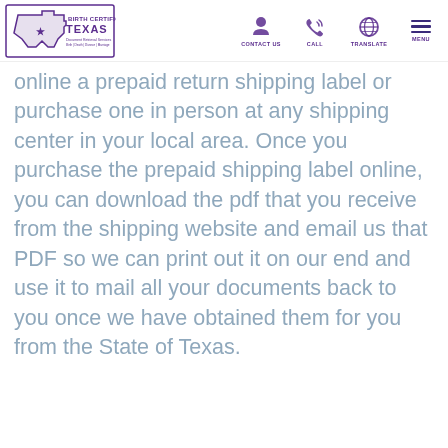[Figure (logo): Birth Certificate Texas logo with Texas state outline and text 'Document Retrieval Services Birth | Death | Divorce | Marriage']
CONTACT US | CALL | TRANSLATE | MENU
online a prepaid return shipping label or purchase one in person at any shipping center in your local area. Once you purchase the prepaid shipping label online, you can download the pdf that you receive from the shipping website and email us that PDF so we can print out it on our end and use it to mail all your documents back to you once we have obtained them for you from the State of Texas.